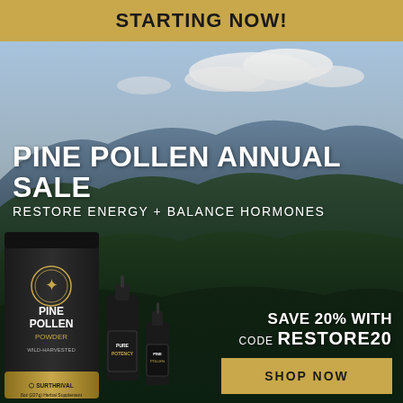[Figure (illustration): Advertisement for Pine Pollen Annual Sale by Surthrival. Background shows a scenic mountain landscape with blue ridges and green forest. Gold banner at top reads STARTING NOW!. Large white text overlay reads PINE POLLEN ANNUAL SALE / RESTORE ENERGY + BALANCE HORMONES. Bottom left shows product images: a large black bag labeled PINE POLLEN POWDER WILD-HARVESTED by SURTHRIVAL (8oz/227g Herbal Supplement), a medium dropper bottle labeled PURE POTENCY, and a small dropper bottle labeled PINE POLLEN. Bottom right white text reads SAVE 20% WITH CODE RESTORE20, and a gold button reads SHOP NOW.]
STARTING NOW!
PINE POLLEN ANNUAL SALE
RESTORE ENERGY + BALANCE HORMONES
SAVE 20% WITH CODE RESTORE20
SHOP NOW